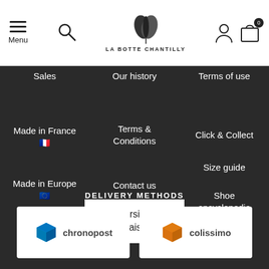Menu | LA BOTTE CHANTILLY
Sales
Our history
Terms of use
Made in France 🇫🇷
Terms & Conditions
Click & Collect
Size guide
Made in Europe 🇪🇺
Contact us
Shoe encyclopedia
Eco-friendly
Version française 🇫🇷
Lookbook
DELIVERY METHODS
[Figure (logo): Chronopost delivery logo]
[Figure (logo): Colissimo delivery logo]